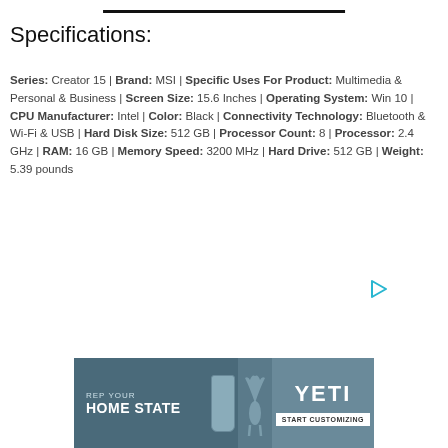Specifications:
Series: Creator 15 | Brand: MSI | Specific Uses For Product: Multimedia & Personal & Business | Screen Size: 15.6 Inches | Operating System: Win 10 | CPU Manufacturer: Intel | Color: Black | Connectivity Technology: Bluetooth & Wi-Fi & USB | Hard Disk Size: 512 GB | Processor Count: 8 | Processor: 2.4 GHz | RAM: 16 GB | Memory Speed: 3200 MHz | Hard Drive: 512 GB | Weight: 5.39 pounds
[Figure (other): YETI advertisement banner: REP YOUR HOME STATE with cup and deer imagery, START CUSTOMIZING button]